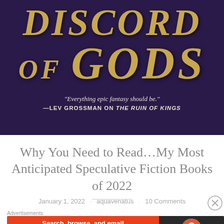[Figure (illustration): Book cover of 'Discord of Gods' with dark purple/black background and gold metallic lettering. A quote reads: 'Everything epic fantasy should be.' —LEV GROSSMAN ON THE RUIN OF KINGS]
Why You Need to Read…My Most Anticipated Speculative Fiction Books of 2022
January 1, 2022 · aquavenatus · 10 Comments
Advertisements
[Figure (screenshot): DuckDuckGo advertisement banner: 'Search, browse, and email with more privacy. All in One Free App' with DuckDuckGo logo on dark background.]